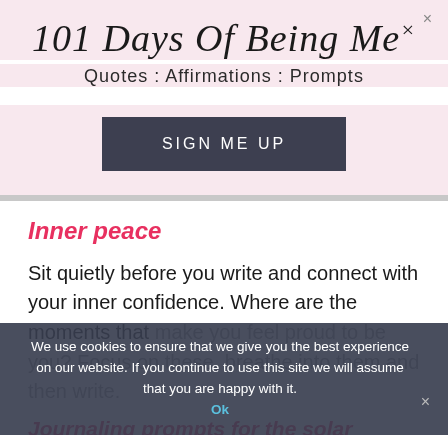101 Days Of Being Me·
Quotes : Affirmations : Prompts
SIGN ME UP
Inner peace
Sit quietly before you write and connect with your inner confidence. Where are the moments that make you feel proud to be you? Focus on these, breathe into them and then write.
Journaling prompts for the solar plexus
We use cookies to ensure that we give you the best experience on our website. If you continue to use this site we will assume that you are happy with it.
Ok